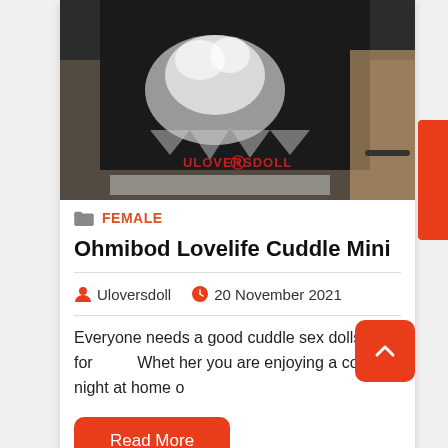[Figure (photo): Person wearing a black graphic t-shirt with a wolf/snow design, torso visible, with a watermark reading ULOVERSDOLL]
FEMALE
Ohmibod Lovelife Cuddle Mini
Uloversdoll   20 November 2021
Everyone needs a good cuddle sex dolls for Whet her you are enjoying a cozy night at home o